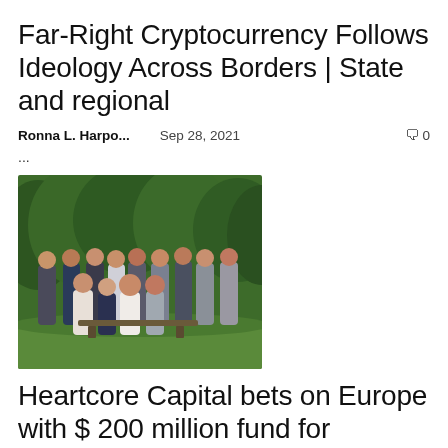Far-Right Cryptocurrency Follows Ideology Across Borders | State and regional
Ronna L. Harpo...   Sep 28, 2021   💬 0
...
[Figure (photo): Group photo of approximately 15 people standing and sitting on grass in front of green trees/bushes outdoors]
Heartcore Capital bets on Europe with $ 200 million fund for consumer tech startups